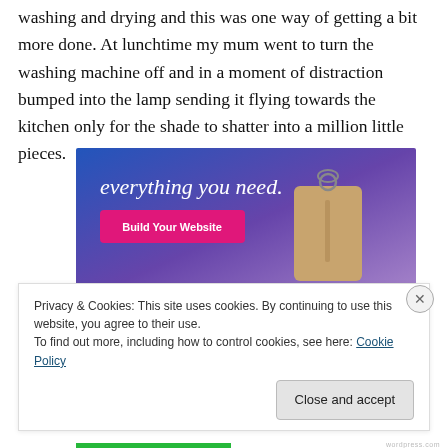washing and drying and this was one way of getting a bit more done. At lunchtime my mum went to turn the washing machine off and in a moment of distraction bumped into the lamp sending it flying towards the kitchen only for the shade to shatter into a million little pieces.
[Figure (screenshot): Advertisement banner with blue-to-purple gradient background showing text 'everything you need.' in white serif font, a pink 'Build Your Website' button, and a tan luggage tag graphic on the right.]
Privacy & Cookies: This site uses cookies. By continuing to use this website, you agree to their use.
To find out more, including how to control cookies, see here: Cookie Policy
Close and accept